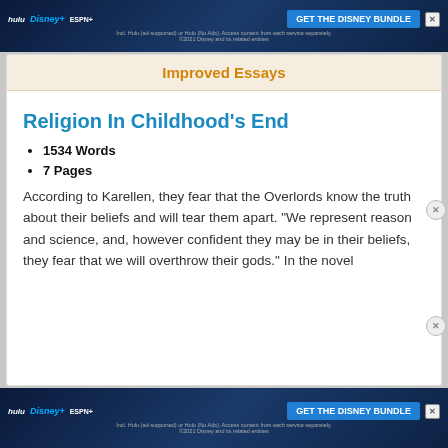[Figure (screenshot): Hulu Disney+ ESPN+ GET THE DISNEY BUNDLE advertisement banner at top of page]
Improved Essays
Religion In Childhood's End
1534 Words
7 Pages
According to Karellen, they fear that the Overlords know the truth about their beliefs and will tear them apart. “We represent reason and science, and, however confident they may be in their beliefs, they fear that we will overthrow their gods.” In the novel
[Figure (screenshot): Hulu Disney+ ESPN+ GET THE DISNEY BUNDLE advertisement banner at bottom of page]